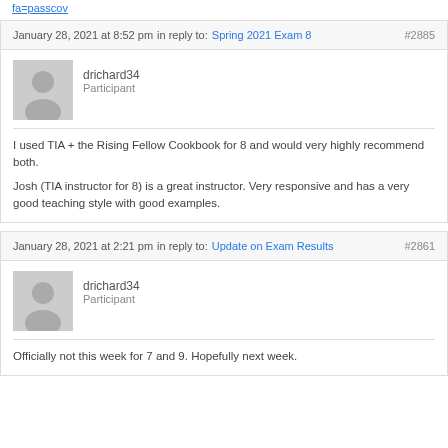fa=passcov
January 28, 2021 at 8:52 pmin reply to: Spring 2021 Exam 8 #2885
drichard34
Participant
I used TIA + the Rising Fellow Cookbook for 8 and would very highly recommend both.

Josh (TIA instructor for 8) is a great instructor. Very responsive and has a very good teaching style with good examples.
January 28, 2021 at 2:21 pmin reply to: Update on Exam Results #2861
drichard34
Participant
Officially not this week for 7 and 9. Hopefully next week.